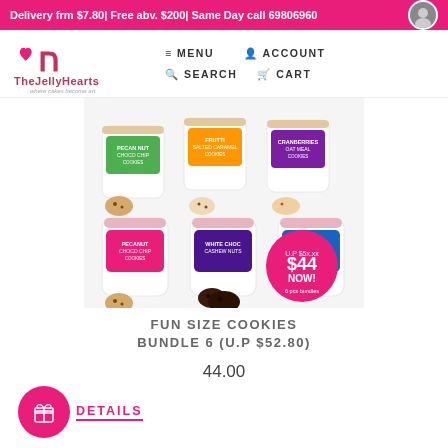Delivery frm $7.80| Free abv. $200| Same Day call 69806960
[Figure (screenshot): TheJellyHearts logo with pink heart and monogram letters, tagline 'where cakes become art']
MENU  ACCOUNT  SEARCH  CART
[Figure (photo): Six colorful cookie jars with cookies displayed, showing various flavors. A pink badge reads $44 NOW!]
FUN SIZE COOKIES BUNDLE 6 (U.P $52.80)
44.00
DETAILS